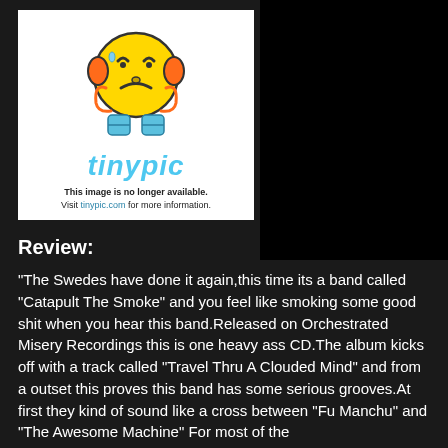[Figure (illustration): Tinypic broken image placeholder: yellow emoji character with frown and hands on head, with 'tinypic' logo text and message 'This image is no longer available. Visit tinypic.com for more information.']
Review:
"The Swedes have done it again,this time its a band called "Catapult The Smoke" and you feel like smoking some good shit when you hear this band.Released on Orchestrated Misery Recordings this is one heavy ass CD.The album kicks off with a track called "Travel Thru A Clouded Mind" and from a outset this proves this band has some serious grooves.At first they kind of sound like a cross between "Fu Manchu" and "The Awesome Machine" For most of the